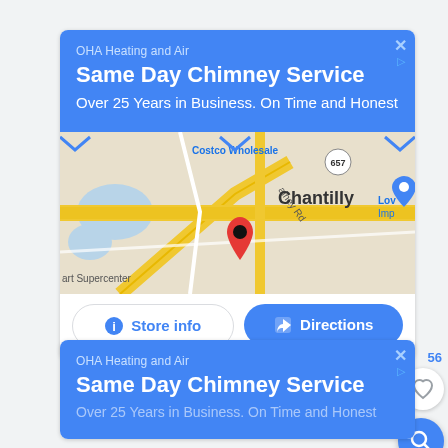[Figure (screenshot): Google Maps advertisement card for OHA Heating and Air showing Same Day Chimney Service with map of Chantilly area and Store info/Directions buttons]
OHA Heating and Air
Same Day Chimney Service
Over 25 Years in Business. On Time and Honest
[Figure (map): Google Maps snippet showing Chantilly area with roads, Costco Wholesale, Walmart Supercenter, Lowe's Home Improvement markers and a red location pin]
Store info
Directions
[Figure (screenshot): Second partial Google Maps advertisement card for OHA Heating and Air, partially visible at bottom]
OHA Heating and Air
Same Day Chimney Service
Over 25 Years in Business. On Time and Honest